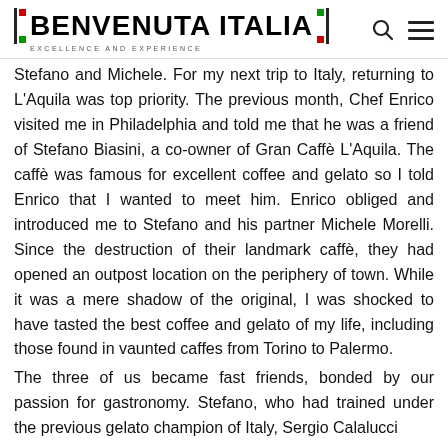BENVENUTA ITALIA — EXCELLENCE AND EXPERIENCE
Stefano and Michele. For my next trip to Italy, returning to L'Aquila was top priority. The previous month, Chef Enrico visited me in Philadelphia and told me that he was a friend of Stefano Biasini, a co-owner of Gran Caffè L'Aquila. The caffè was famous for excellent coffee and gelato so I told Enrico that I wanted to meet him. Enrico obliged and introduced me to Stefano and his partner Michele Morelli. Since the destruction of their landmark caffè, they had opened an outpost location on the periphery of town. While it was a mere shadow of the original, I was shocked to have tasted the best coffee and gelato of my life, including those found in vaunted caffes from Torino to Palermo.
The three of us became fast friends, bonded by our passion for gastronomy. Stefano, who had trained under the previous gelato champion of Italy, Sergio Calalucci